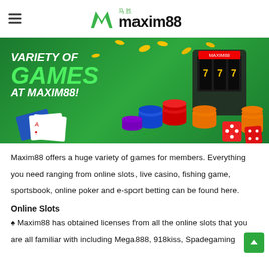[Figure (logo): Maxim88 logo with green M icon and Chinese characters 马胜]
[Figure (photo): Banner image with green background showing casino chips, playing cards, dice, slot machine and text: VARIETY OF GAMES AT MAXIM88!]
Maxim88 offers a huge variety of games for members. Everything you need ranging from online slots, live casino, fishing game, sportsbook, online poker and e-sport betting can be found here.
Online Slots
♠ Maxim88 has obtained licenses from all the online slots that you are all familiar with including Mega888, 918kiss, Spadegaming